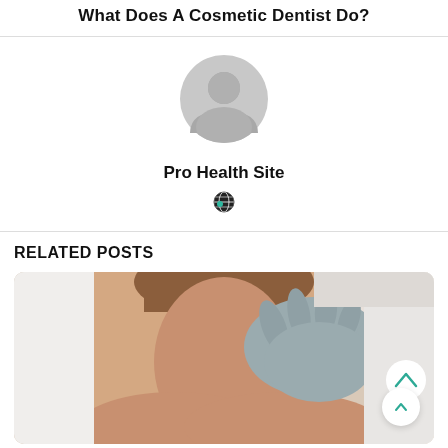What Does A Cosmetic Dentist Do?
[Figure (illustration): Gray circular avatar/user profile icon placeholder]
Pro Health Site
[Figure (illustration): Small globe/world icon]
RELATED POSTS
[Figure (photo): Medical professional in gray gloves examining the back of a patient's neck/shoulder area]